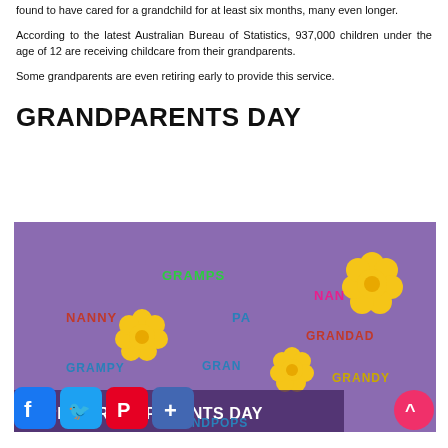found to have cared for a grandchild for at least six months, many even longer.
According to the latest Australian Bureau of Statistics, 937,000 children under the age of 12 are receiving childcare from their grandparents.
Some grandparents are even retiring early to provide this service.
GRANDPARENTS DAY
[Figure (illustration): Purple background illustration for Grandparents Day showing various grandparent nicknames (GRAMPS, NANNY, PA, NAN, GRANDAD, GRAMPY, GRAN, GRANDY, GRANDPOPS) with yellow flower decorations and text 'HAPPY GRANDPARENTS DAY' at the bottom. Social media sharing buttons (Facebook, Twitter, Pinterest, Plus) visible at bottom left, and a pink scroll-to-top button at bottom right.]